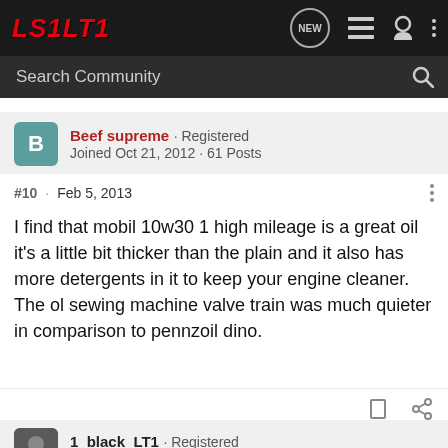[Figure (screenshot): LS1LT1 forum website navigation bar with logo, search bar, and icons]
Beef Supreme · Registered
Joined Oct 21, 2012 · 61 Posts
#10 · Feb 5, 2013
I find that mobil 10w30 1 high mileage is a great oil it's a little bit thicker than the plain and it also has more detergents in it to keep your engine cleaner. The ol sewing machine valve train was much quieter in comparison to pennzoil dino.
1_black_LT1 · Registered
Joined Aug 11, 2010 · 740 Posts